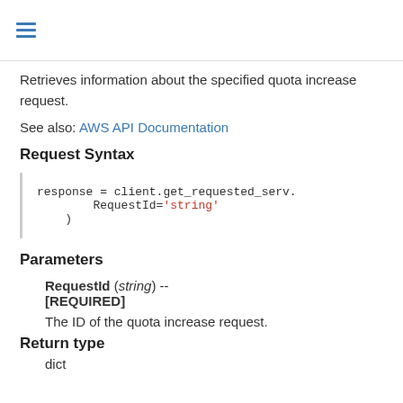≡
Retrieves information about the specified quota increase request.
See also: AWS API Documentation
Request Syntax
response = client.get_requested_serv.
    RequestId='string'
)
Parameters
RequestId (string) -- [REQUIRED]
The ID of the quota increase request.
Return type
dict